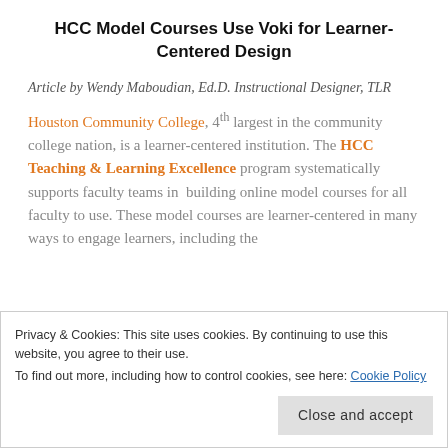HCC Model Courses Use Voki for Learner-Centered Design
Article by Wendy Maboudian, Ed.D. Instructional Designer, TLR
Houston Community College, 4th largest in the community college nation, is a learner-centered institution. The HCC Teaching & Learning Excellence program systematically supports faculty teams in building online model courses for all faculty to use. These model courses are learner-centered in many ways to engage learners, including the
Privacy & Cookies: This site uses cookies. By continuing to use this website, you agree to their use. To find out more, including how to control cookies, see here: Cookie Policy